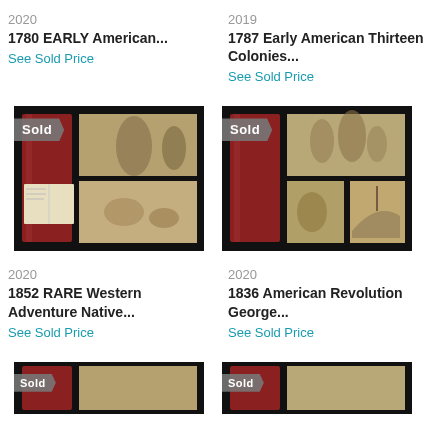2020
1780 EARLY American...
See Sold Price
2019
1787 Early American Thirteen Colonies...
See Sold Price
[Figure (photo): Sold badge over antique book with red spine and engravings]
[Figure (photo): Sold badge over antique book with red spine and engravings]
2020
1852 RARE Western Adventure Native...
See Sold Price
2020
1836 American Revolution George...
See Sold Price
[Figure (photo): Partial view of antique book with sold badge]
[Figure (photo): Partial view of antique book with sold badge]